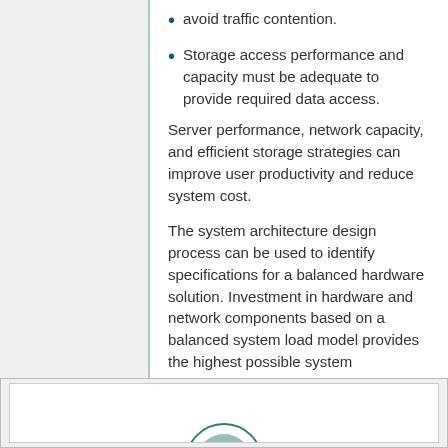avoid traffic contention.
Storage access performance and capacity must be adequate to provide required data access.
Server performance, network capacity, and efficient storage strategies can improve user productivity and reduce system cost.
The system architecture design process can be used to identify specifications for a balanced hardware solution. Investment in hardware and network components based on a balanced system load model provides the highest possible system performance at the lowest overall cost.
Why we do planning
[Figure (illustration): Partial view of a circular logo or diagram at the bottom of the page, teal/green colored.]